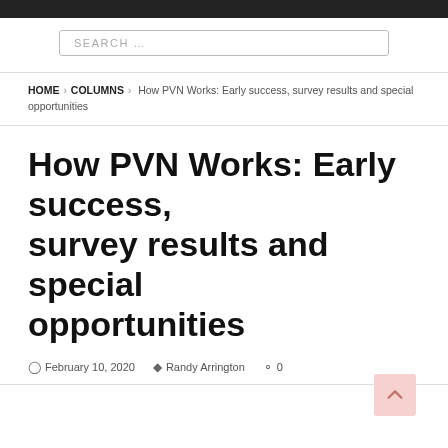SEARCH ...
HOME > COLUMNS > How PVN Works: Early success, survey results and special opportunities
How PVN Works: Early success, survey results and special opportunities
February 10, 2020   Randy Arrington   0